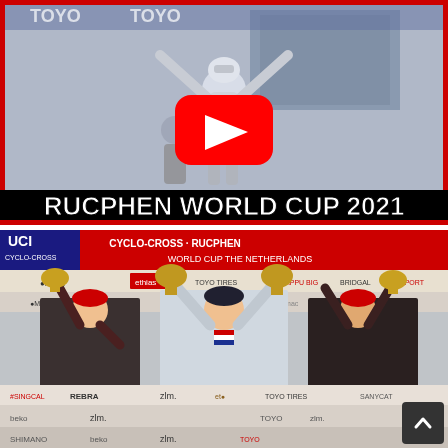[Figure (photo): YouTube video thumbnail showing a cyclist celebrating a win with arms raised, wearing a white jersey, with a red YouTube play button overlay and text 'RUCPHEN WORLD CUP 2021' in bold white letters outlined in black at the bottom.]
[Figure (photo): Photograph of three cyclists on a podium at the UCI Cyclo-Cross World Cup in Rucphen, The Netherlands. The winner in the center wears a white jersey with the Dutch national flag colors, flanked by two competitors in dark/black team kits. All three hold trophy items aloft. Event branding banners visible in background including TOYO Tires, ethias, zlm., beko, SHIMANO, REBRA, and others.]